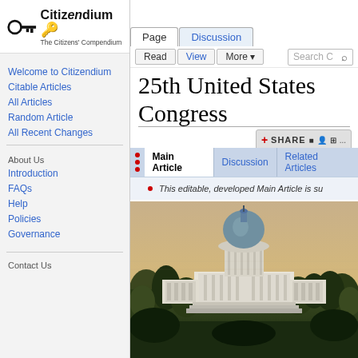Log in
[Figure (logo): Citizendium logo - key icon with text 'Citizendium The Citizens' Compendium']
Welcome to Citizendium
Citable Articles
All Articles
Random Article
All Recent Changes
About Us
Introduction
FAQs
Help
Policies
Governance
Contact Us
25th United States Congress
This editable, developed Main Article is su
[Figure (illustration): Historical illustration of the United States Capitol building, engraving style showing the building with a dome surrounded by trees]